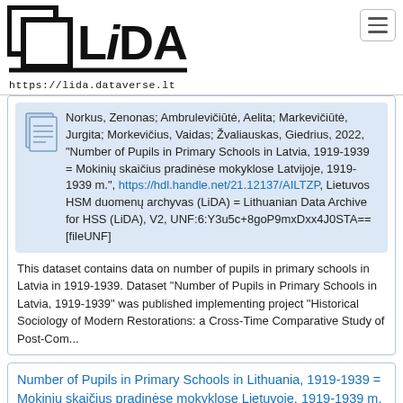LiDA — https://lida.dataverse.lt
Norkus, Zenonas; Ambrulevičiūtė, Aelita; Markevičiūtė, Jurgita; Morkevičius, Vaidas; Žvaliauskas, Giedrius, 2022, "Number of Pupils in Primary Schools in Latvia, 1919-1939 = Mokinių skaičius pradinėse mokyklose Latvijoje, 1919-1939 m.", https://hdl.handle.net/21.12137/AILTZP, Lietuvos HSM duomenų archyvas (LiDA) = Lithuanian Data Archive for HSS (LiDA), V2, UNF:6:Y3u5c+8goP9mxDxx4J0STA== [fileUNF]
This dataset contains data on number of pupils in primary schools in Latvia in 1919-1939. Dataset "Number of Pupils in Primary Schools in Latvia, 1919-1939" was published implementing project "Historical Sociology of Modern Restorations: a Cross-Time Comparative Study of Post-Com...
Number of Pupils in Primary Schools in Lithuania, 1919-1939 = Mokinių skaičius pradinėse mokyklose Lietuvoje, 1919-1939 m.
Jun 25, 2022 - Education = Švietimas
Norkus, Zenonas; Ambrulevičiūtė, Aelita; Markevičiūtė,